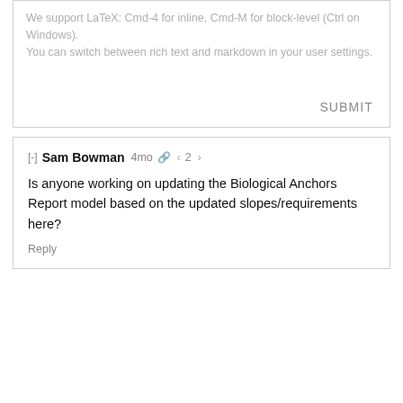We support LaTeX: Cmd-4 for inline, Cmd-M for block-level (Ctrl on Windows).
You can switch between rich text and markdown in your user settings.
SUBMIT
[-] Sam Bowman 4mo 🔗 < 2 >
Is anyone working on updating the Biological Anchors Report model based on the updated slopes/requirements here?
Reply